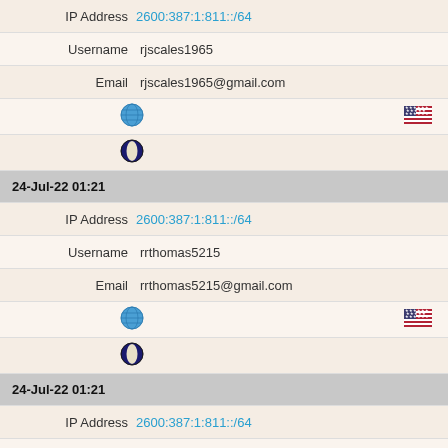| IP Address | 2600:387:1:811::/64 |
| Username | rjscales1965 |
| Email | rjscales1965@gmail.com |
| [globe icon] | [US flag] |
| [opera icon] |  |
| 24-Jul-22 01:21 |  |
| IP Address | 2600:387:1:811::/64 |
| Username | rrthomas5215 |
| Email | rrthomas5215@gmail.com |
| [globe icon] | [US flag] |
| [opera icon] |  |
| 24-Jul-22 01:21 |  |
| IP Address | 2600:387:1:811::/64 |
| Username | rrthomas5215 |
| Email | rrthomas5215@gmail.com |
| [globe icon] | [US flag] |
| [opera icon] |  |